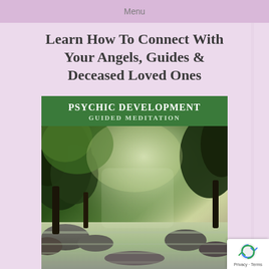Menu
Learn How To Connect With Your Angels, Guides & Deceased Loved Ones
[Figure (illustration): Book cover for 'Psychic Development Guided Meditation' by Anne Beith, Ph.D. The cover features a green header band with the title in white bold text, a nature photograph of a forest stream with cascading water over rocks surrounded by lush green trees with misty light filtering through, and a green footer band with the author name Anne Beith, Ph.D. in white text.]
Privacy · Terms